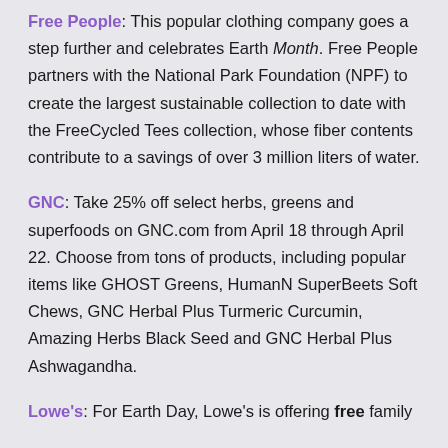Free People: This popular clothing company goes a step further and celebrates Earth Month. Free People partners with the National Park Foundation (NPF) to create the largest sustainable collection to date with the FreeCycled Tees collection, whose fiber contents contribute to a savings of over 3 million liters of water.
GNC: Take 25% off select herbs, greens and superfoods on GNC.com from April 18 through April 22. Choose from tons of products, including popular items like GHOST Greens, HumanN SuperBeets Soft Chews, GNC Herbal Plus Turmeric Curcumin, Amazing Herbs Black Seed and GNC Herbal Plus Ashwagandha.
Lowe's: For Earth Day, Lowe's is offering free family